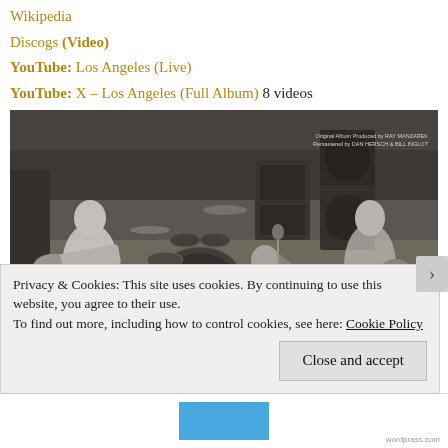Wikipedia
Discogs (Video)
YouTube: Los Angeles (Live)
YouTube: X – Los Angeles (Full Album) 8 videos
[Figure (photo): Black and white live concert photo of punk band X performing on stage; guitar player on left, drummer in back center, vocalist crouching at microphone center, guitarist on right. Small text overlay top-right reads: Original Album Produced by RAY MANZAREK / Remastered by DAN HERSCH & BILL INGLOT]
Privacy & Cookies: This site uses cookies. By continuing to use this website, you agree to their use.
To find out more, including how to control cookies, see here: Cookie Policy
Close and accept